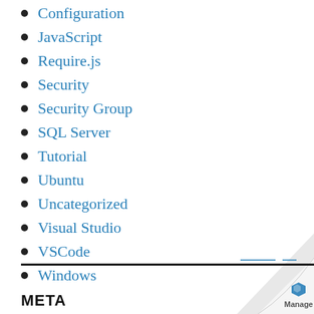Configuration
JavaScript
Require.js
Security
Security Group
SQL Server
Tutorial
Ubuntu
Uncategorized
Visual Studio
VSCode
Windows
META